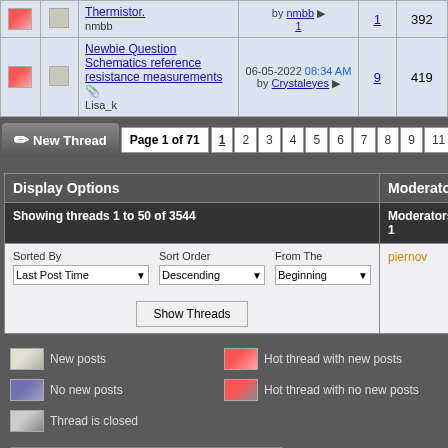|  |  | Thread Title | Last Post | Replies | Views |
| --- | --- | --- | --- | --- | --- |
| [hot-icon] | [icon] | Thermistor.
nmbb | by nmbb [arrow]
1 | 1 | 392 |
| [hot-icon] | [icon] | Newbie Question Schematics reference resistance measurements [attach]
Lisa_k | 06-05-2022 08:34 AM
by Crystaleyes [arrow] | 9 | 419 |
New Thread | Page 1 of 71 | 1 2 3 4 5 6 7 8 9 11 51 > Last »
| Display Options | Moderators |
| --- | --- |
| Showing threads 1 to 50 of 3544 | Moderators : 1 |
| Sorted By: Last Post Time | Sort Order: Descending | From The: Beginning | [Show Threads] | piernov |
New posts
Hot thread with new posts
No new posts
Hot thread with no new posts
Thread is closed
Posting Rules
You may not post new threads
You may not post replies